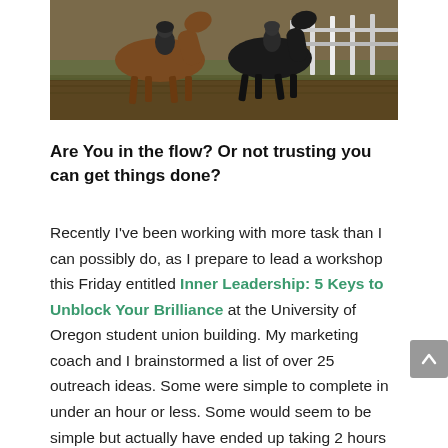[Figure (photo): Two horses being ridden on a dirt track with white fence posts in the background]
Are You in the flow? Or not trusting you can get things done?
Recently I've been working with more task than I can possibly do, as I prepare to lead a workshop this Friday entitled Inner Leadership: 5 Keys to Unblock Your Brilliance at the University of Oregon student union building. My marketing coach and I brainstormed a list of over 25 outreach ideas. Some were simple to complete in under an hour or less. Some would seem to be simple but actually have ended up taking 2 hours or more. I'm on a learning